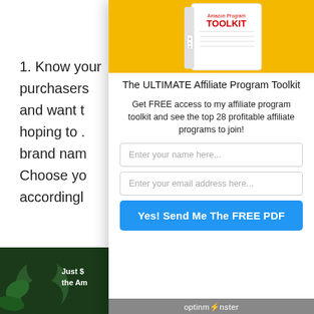1. Know your purchasers and want t hoping to . brand nam Choose yo accordingl
2. Purchasers items and
[Figure (photo): Gorilla in jungle with overlay text 'Just $ the Am']
[Figure (illustration): Book with yellow background showing 'Amazon Program TOOLKIT' text on white book cover]
The ULTIMATE Affiliate Program Toolkit
Get FREE access to my affiliate program toolkit and see the top 28 profitable affiliate programs to join!
Enter your name here...
Enter your email address here...
Yes! Send Me The FREE PDF
optinmonster